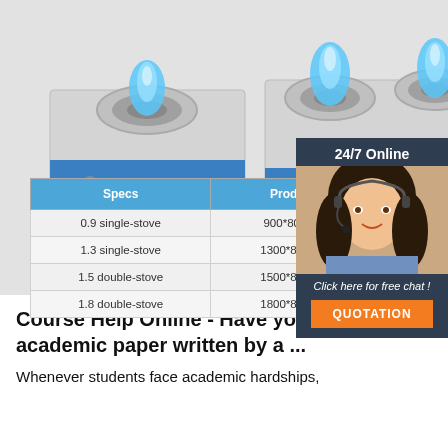[Figure (photo): Two commercial gas stove burners with blue flames on a gray background. Left: single burner stove. Right: double burner stove. Both are stainless steel with blue control panel.]
[Figure (photo): Customer service representative woman with headset smiling, overlaid with a dark teal panel showing 24/7 Online, Click here for free chat!, and QUOTATION button.]
| Specs | Product Size | Gas Amount |
| --- | --- | --- |
| 0.9 single-stove | 900*800*800mm |  |
| 1.3 single-stove | 1300*800*800mm | 2m³/h/sto |
| 1.5 double-stove | 1500*800*800mm |  |
| 1.8 double-stove | 1800*800*800mm |  |
Course Help Online - Have your academic paper written by a ...
Whenever students face academic hardships,